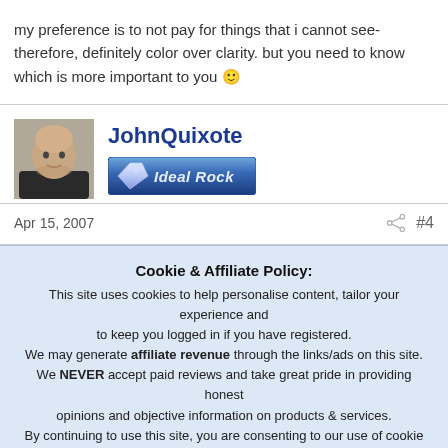my preference is to not pay for things that i cannot see- therefore, definitely color over clarity. but you need to know which is more important to you 🙂
[Figure (photo): Avatar photo of forum user JohnQuixote — a bald man in a dark jacket]
JohnQuixote
[Figure (logo): Ideal Rock badge/logo — blue gradient banner with diamond icon and text 'Ideal Rock']
Apr 15, 2007
#4
Cookie & Affiliate Policy: This site uses cookies to help personalise content, tailor your experience and to keep you logged in if you have registered. We may generate affiliate revenue through the links/ads on this site. We NEVER accept paid reviews and take great pride in providing honest opinions and objective information on products & services. By continuing to use this site, you are consenting to our use of cookie policy.
Accept
Learn more...